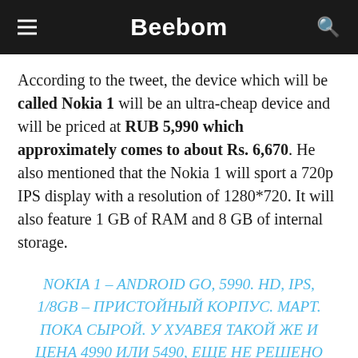Beebom
According to the tweet, the device which will be called Nokia 1 will be an ultra-cheap device and will be priced at RUB 5,990 which approximately comes to about Rs. 6,670. He also mentioned that the Nokia 1 will sport a 720p IPS display with a resolution of 1280*720. It will also feature 1 GB of RAM and 8 GB of internal storage.
NOKIA 1 – ANDROID GO, 5990. HD, IPS, 1/8GB – ПРИСТОЙНЫЙ КОРПУС. МАРТ. ПОКА СЫРОЙ. У ХУАВЕЯ ТАКОЙ ЖЕ И ЦЕНА 4990 ИЛИ 5490, ЕЩЕ НЕ РЕШЕНО